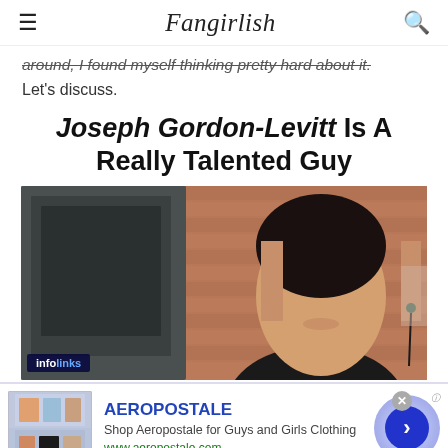Fangirlish
around, I found myself thinking pretty hard about it. Let's discuss.
Joseph Gordon-Levitt Is A Really Talented Guy
[Figure (photo): Photo of Joseph Gordon-Levitt wearing earbuds, smiling, with a brick wall background. An 'infolinks' badge appears in the lower left corner of the image.]
AEROPOSTALE
Shop Aeropostale for Guys and Girls Clothing
www.aeropostale.com